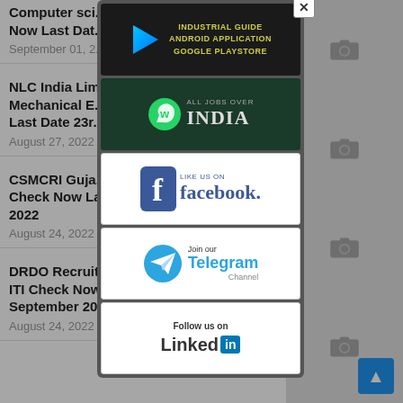Computer sci... Now Last Dat...
September 01, 2...
NLC India Lim... Mechanical E... Last Date 23r...
August 27, 2022
CSMCRI Guja... Check Now La... 2022
August 24, 2022
DRDO Recruit... ITI Check Now Last Date 23rd September 2022
August 24, 2022
[Figure (screenshot): Modal popup with social media banners: Industrial Guide Android Application Google Playstore, All Jobs Over India WhatsApp, Like Us On Facebook, Join our Telegram Channel, Follow us on LinkedIn]
[Figure (screenshot): Scroll to top button (blue arrow up)]